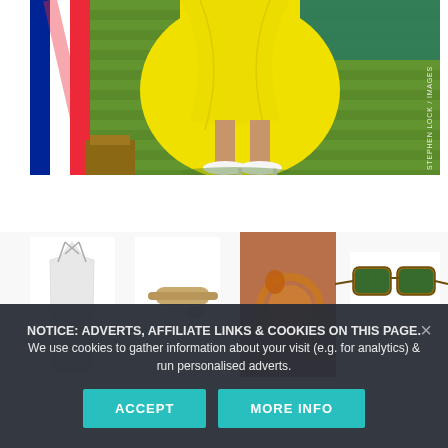[Figure (photo): A woman wearing a bright yellow midi skirt and white heels standing on green grass at Wimbledon, with a red, white and blue flag partially visible on the left. Photo credit: STEPHEN LOCK / IMAGES]
[Figure (photo): Row of fashion thumbnails: white strappy dress, wooden rolling pin accessory, close-up of gold and red hoop earrings on a woman, tortoiseshell sunglasses]
NOTICE: ADVERTS, AFFILIATE LINKS & COOKIES ON THIS PAGE. We use cookies to gather information about your visit (e.g. for analytics) & run personalised adverts.
ACCEPT
MORE INFO